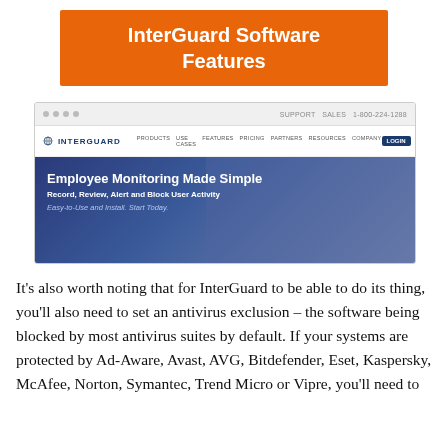InterGuard Software Features
[Figure (screenshot): Screenshot of the InterGuard website homepage showing the browser navigation bar, InterGuard logo with nav links (Products, Use Cases, Features, Pricing, Partners, Resources, Company, Login), and a hero banner with text 'Employee Monitoring Made Simple', 'Record, Review, Alert and Block User Activity', 'Easy-to-Use and Install. Start Today.']
It's also worth noting that for InterGuard to be able to do its thing, you'll also need to set an antivirus exclusion – the software being blocked by most antivirus suites by default. If your systems are protected by Ad-Aware, Avast, AVG, Bitdefender, Eset, Kaspersky, McAfee, Norton, Symantec, Trend Micro or Vipre, you'll need to